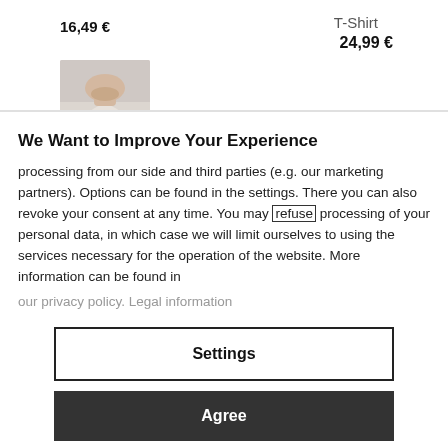16,49 €
T-Shirt
24,99 €
[Figure (photo): Partial photo of a man's lower face and collar, cropped at the chin.]
We Want to Improve Your Experience
processing from our side and third parties (e.g. our marketing partners). Options can be found in the settings. There you can also revoke your consent at any time. You may refuse processing of your personal data, in which case we will limit ourselves to using the services necessary for the operation of the website. More information can be found in
our privacy policy. Legal information
Settings
Agree